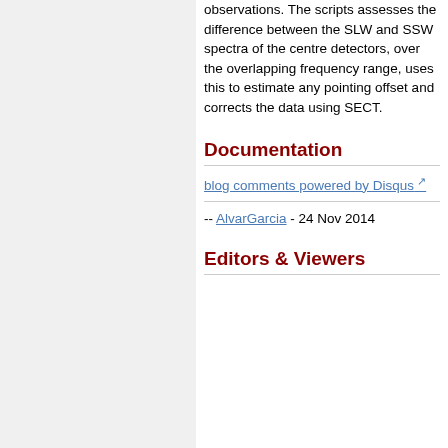observations. The scripts assesses the difference between the SLW and SSW spectra of the centre detectors, over the overlapping frequency range, uses this to estimate any pointing offset and corrects the data using SECT.
Documentation
blog comments powered by Disqus
-- AlvarGarcia - 24 Nov 2014
Editors & Viewers